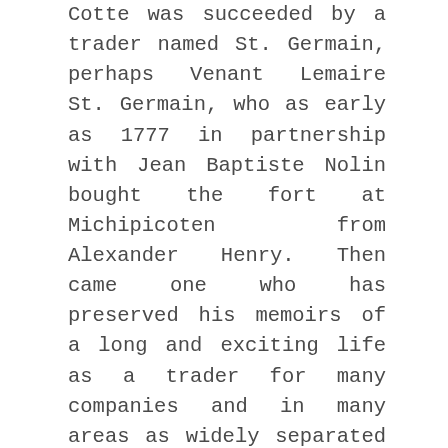Cotte was succeeded by a trader named St. Germain, perhaps Venant Lemaire St. Germain, who as early as 1777 in partnership with Jean Baptiste Nolin bought the fort at Michipicoten from Alexander Henry. Then came one who has preserved his memoirs of a long and exciting life as a trader for many companies and in many areas as widely separated as the Illinois, the upper Mississippi, and the Albany River regions. This was Jean Bte. Perrault, who served twice in the Pic district – six years for the North West Company, 1799-1805; and again for the winters of 1810-1811 and 1811-1812 for an American trader and for the Hudson's Bay Company respectively. This later sojourn was inland on the Pic River and on the watershed between Lake Superior and the Albany River. Perrault has left several very